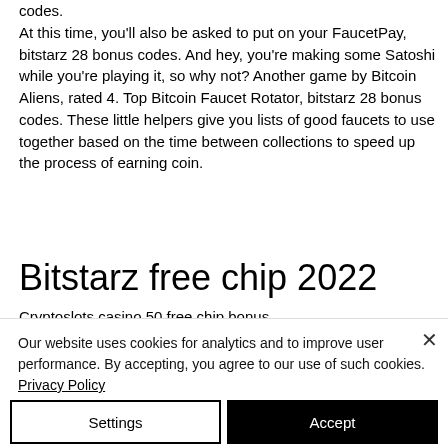codes. At this time, you'll also be asked to put on your FaucetPay, bitstarz 28 bonus codes. And hey, you're making some Satoshi while you're playing it, so why not? Another game by Bitcoin Aliens, rated 4. Top Bitcoin Faucet Rotator, bitstarz 28 bonus codes. These little helpers give you lists of good faucets to use together based on the time between collections to speed up the process of earning coin.
Bitstarz free chip 2022
Cryptoslots casino 50 free chip bonus,
Our website uses cookies for analytics and to improve user performance. By accepting, you agree to our use of such cookies. Privacy Policy
Settings
Accept